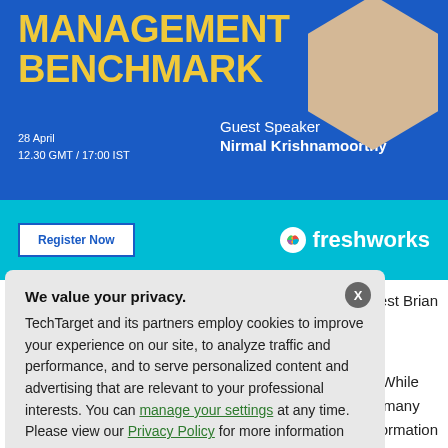[Figure (screenshot): Management Benchmark webinar banner with blue background, yellow title text 'MANAGEMENT BENCHMARK', date '28 April 12.30 GMT / 17:00 IST', Guest Speaker Nirmal Krishnamoorthy, photo in hexagon shape, teal strip with Register Now button and Freshworks logo]
works & guest Brian
nvironment. While
nitiatives for many
digital transformation
We value your privacy.
TechTarget and its partners employ cookies to improve your experience on our site, to analyze traffic and performance, and to serve personalized content and advertising that are relevant to your professional interests. You can manage your settings at any time. Please view our Privacy Policy for more information